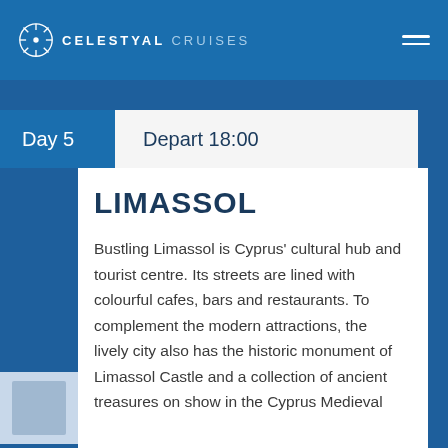CELESTYAL CRUISES
Day 5  Depart 18:00
LIMASSOL
Bustling Limassol is Cyprus' cultural hub and tourist centre. Its streets are lined with colourful cafes, bars and restaurants. To complement the modern attractions, the lively city also has the historic monument of Limassol Castle and a collection of ancient treasures on show in the Cyprus Medieval